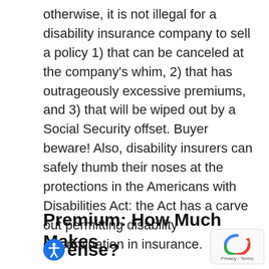otherwise, it is not illegal for a disability insurance company to sell a policy 1) that can be canceled at the company's whim, 2) that has outrageously excessive premiums, and 3) that will be wiped out by a Social Security offset. Buyer beware! Also, disability insurers can safely thumb their noses at the protections in the Americans with Disabilities Act: the Act has a carve out permitting disability discrimination in insurance.
Premium: How Much Makes Sense?